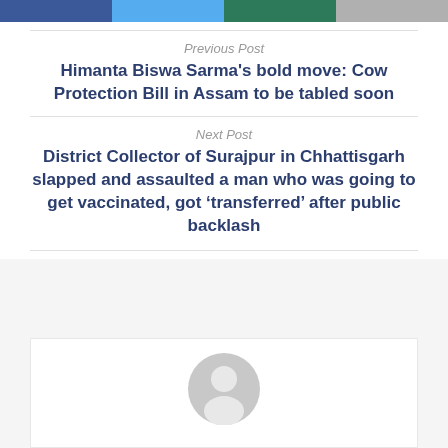[Figure (other): Social share buttons row: Facebook (blue), Twitter (cyan), Google+ (teal/green), WhatsApp (grey)]
Previous Post
Himanta Biswa Sarma's bold move: Cow Protection Bill in Assam to be tabled soon
Next Post
District Collector of Surajpur in Chhattisgarh slapped and assaulted a man who was going to get vaccinated, got ‘transferred’ after public backlash
[Figure (illustration): Default author avatar icon — grey silhouette of a person in a circle]